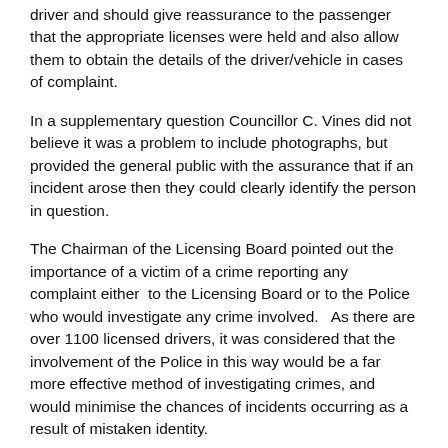driver and should give reassurance to the passenger that the appropriate licenses were held and also allow them to obtain the details of the driver/vehicle in cases of complaint.
In a supplementary question Councillor C. Vines did not believe it was a problem to include photographs, but provided the general public with the assurance that if an incident arose then they could clearly identify the person in question.
The Chairman of the Licensing Board pointed out the importance of a victim of a crime reporting any complaint either to the Licensing Board or to the Police who would investigate any crime involved.  As there are over 1100 licensed drivers, it was considered that the involvement of the Police in this way would be a far more effective method of investigating crimes, and would minimise the chances of incidents occurring as a result of mistaken identity.
(3) Councillor Jepson asked following the recent A57 improvements at Todwick, £100,000 was being spent on a footpath in the area with no proven need and asked why had this surplus contract money not been spent repairing the local roads damaged by the resulting traffic diversions or on a much